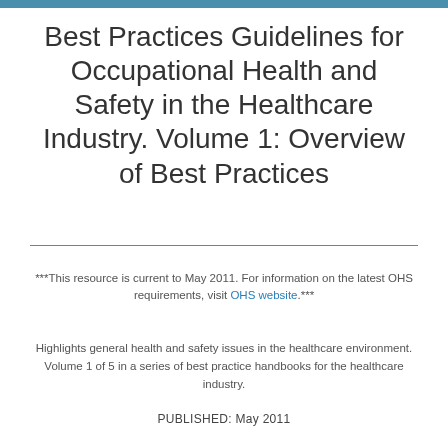Best Practices Guidelines for Occupational Health and Safety in the Healthcare Industry. Volume 1: Overview of Best Practices
***This resource is current to May 2011. For information on the latest OHS requirements, visit OHS website.***
Highlights general health and safety issues in the healthcare environment. Volume 1 of 5 in a series of best practice handbooks for the healthcare industry.
PUBLISHED: May 2011